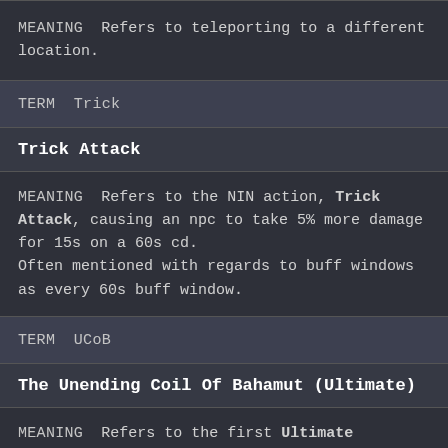MEANING  Refers to teleporting to a different location.
TERM  Trick
Trick Attack
MEANING  Refers to the NIN action, Trick Attack, causing an npc to take 5% more damage for 15s on a 60s cd.
Often mentioned with regards to buff windows as every 60s buff window.
TERM  UCoB
The Unending Coil Of Bahamut (Ultimate)
MEANING  Refers to the first Ultimate encounter. Released in Stormblood for Lv. 70.